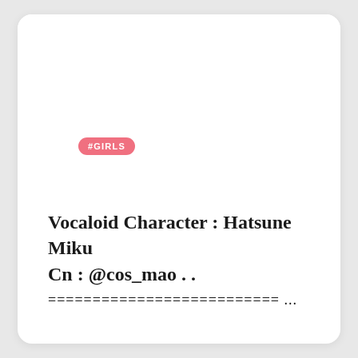[Figure (photo): Large white/blank upper area of a card, likely a photo placeholder or white image taking up most of the card space]
#GIRLS
Vocaloid Character : Hatsune Miku
Cn : @cos_mao . .
=========================== ...